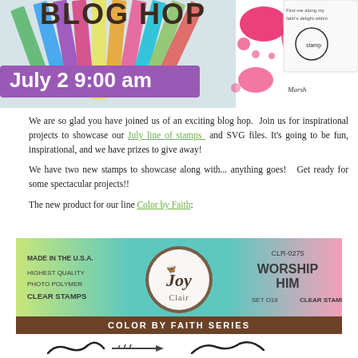[Figure (illustration): Blog hop promotional banner showing colorful pencils, pink ink splatter, stamp images, text 'BLOG HOP', and date 'July 2 9:00 am' on purple background]
We are so glad you have joined us of an exciting blog hop. Join us for inspirational projects to showcase our July line of stamps and SVG files. It's going to be fun, inspirational, and we have prizes to give away!
We have two new stamps to showcase along with... anything goes! Get ready for some spectacular projects!!
The new product for our line Color by Faith:
[Figure (illustration): Joy Clair product banner for 'Worship Him' CLR-0275 Clear Stamps, Color by Faith Series. Made in the USA, Highest Quality Photo Polymer Clear Stamps. Set O18.]
[Figure (illustration): Signature/handwriting at bottom of page]